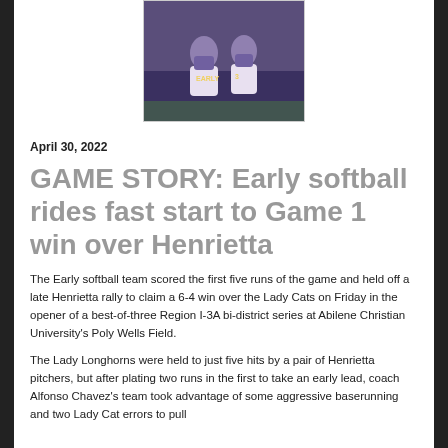[Figure (photo): Two softball players in purple and gold uniforms celebrating, one appears to be shouting with excitement]
April 30, 2022
GAME STORY: Early softball rides fast start to Game 1 win over Henrietta
The Early softball team scored the first five runs of the game and held off a late Henrietta rally to claim a 6-4 win over the Lady Cats on Friday in the opener of a best-of-three Region I-3A bi-district series at Abilene Christian University's Poly Wells Field.
The Lady Longhorns were held to just five hits by a pair of Henrietta pitchers, but after plating two runs in the first to take an early lead, coach Alfonso Chavez's team took advantage of some aggressive baserunning and two Lady Cat errors to pull